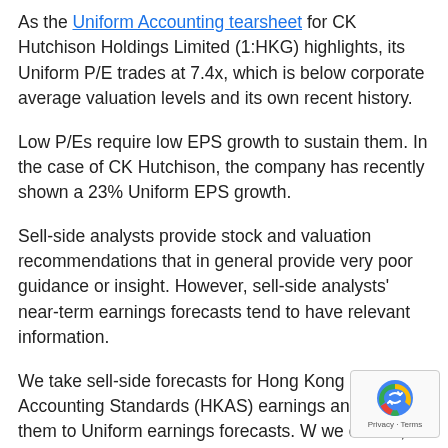As the Uniform Accounting tearsheet for CK Hutchison Holdings Limited (1:HKG) highlights, its Uniform P/E trades at 7.4x, which is below corporate average valuation levels and its own recent history.
Low P/Es require low EPS growth to sustain them. In the case of CK Hutchison, the company has recently shown a 23% Uniform EPS growth.
Sell-side analysts provide stock and valuation recommendations that in general provide very poor guidance or insight. However, sell-side analysts' near-term earnings forecasts tend to have relevant information.
We take sell-side forecasts for Hong Kong Accounting Standards (HKAS) earnings and convert them to Uniform earnings forecasts. W we do this, CK Hutchison's sell-side analyst-driven